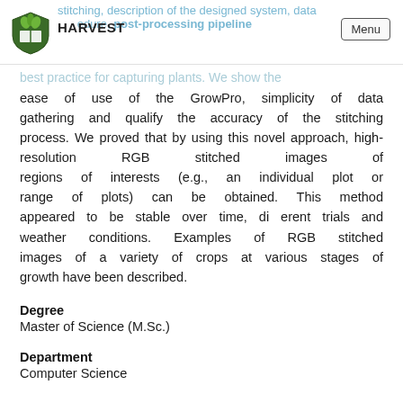HARVEST | Menu
stitching, description of the designed system, data procedure, post-processing pipeline best practice for capturing plants. We show the ease of use of the GrowPro, simplicity of data gathering and qualify the accuracy of the stitching process. We proved that by using this novel approach, high-resolution RGB stitched images of regions of interests (e.g., an individual plot or range of plots) can be obtained. This method appeared to be stable over time, di erent trials and weather conditions. Examples of RGB stitched images of a variety of crops at various stages of growth have been described.
Degree
Master of Science (M.Sc.)
Department
Computer Science